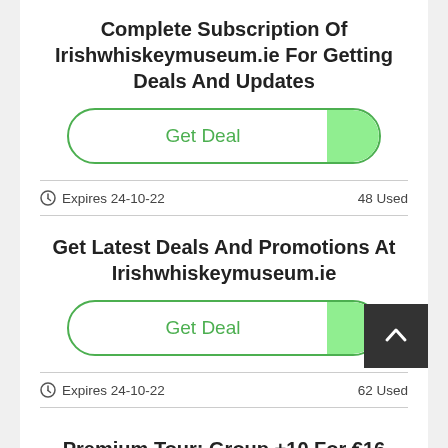Complete Subscription Of Irishwhiskeymuseum.ie For Getting Deals And Updates
[Figure (other): Get Deal button with green tab on right]
Expires 24-10-22   48 Used
Get Latest Deals And Promotions At Irishwhiskeymuseum.ie
[Figure (other): Get Deal button with green tab on right]
Expires 24-10-22   62 Used
Premium Tour: Group +10 For €16